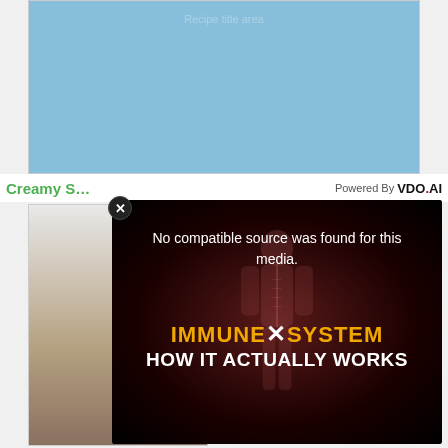[Figure (photo): Light blue sky background image area at top of page]
Creamy S... | Powered By VDO.AI
[Figure (photo): Food photo partially visible on left side]
[Figure (screenshot): Video player overlay with dark red background showing human anatomy figure. Text reads: No compatible source was found for this media. IMMUNE SYSTEM HOW IT ACTUALLY WORKS. Close button (X) visible top-left of overlay.]